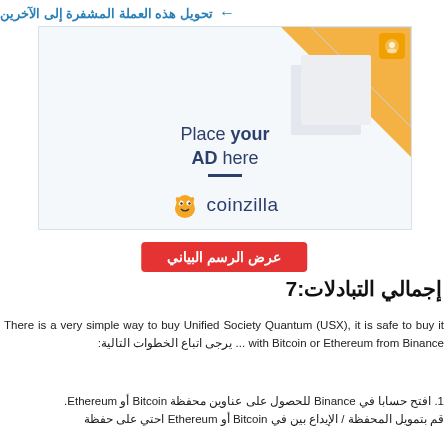← تحويل هذه العملة المشفرة إلى الآخرين
[Figure (illustration): Advertisement placeholder box with orange triangle graphic, 'Place your AD here' text, and Coinzilla branding with logo monster]
عرض الرسم البياني
إجمالي التبادلات:7
There is a very simple way to buy Unified Society Quantum (USX), it is safe to buy it with Bitcoin or Ethereum from Binance ... يرجى اتباع الخطوات التالية:
1. افتح حسابا في Binance للحصول على عناوين محفظة Bitcoin أو Ethereum. قم بتمويل المحفظة / الإيداع بين في Bitcoin أو Ethereum احتي على حفظة